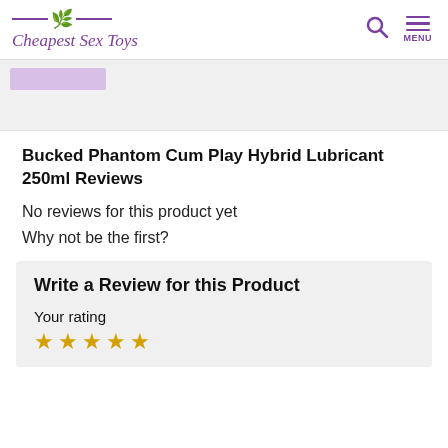Cheapest Sex Toys
Bucked Phantom Cum Play Hybrid Lubricant 250ml Reviews
No reviews for this product yet
Why not be the first?
Write a Review for this Product
Your rating